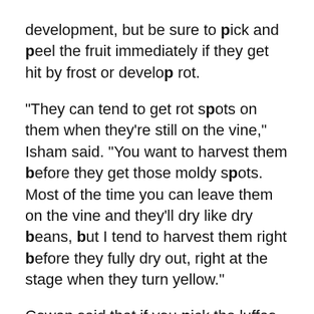development, but be sure to pick and peel the fruit immediately if they get hit by frost or develop rot.
“They can tend to get rot spots on them when they’re still on the vine,” Isham said. “You want to harvest them before they get those moldy spots. Most of the time you can leave them on the vine and they’ll dry like dry beans, but I tend to harvest them right before they fully dry out, right at the stage when they turn yellow.”
Cowan said that if you pick the luffas too soon, you will know right away.
“When you crack one open, it’s like picking an immature squash,” Cowan said. “You just know, ‘Wow, this could have grown longer.’ But when the frost is coming in, it’s like, ‘Just pick everything.’”